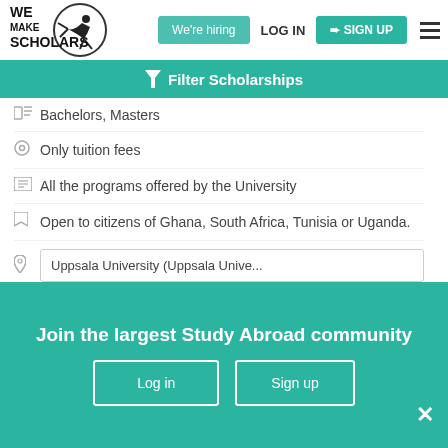[Figure (logo): We Make Scholars logo with acrobat figure]
We're hiring
LOG IN
SIGN UP
Filter Scholarships
Bachelors, Masters
Only tuition fees
All the programs offered by the University
Open to citizens of Ghana, South Africa, Tunisia or Uganda.
Uppsala University (Uppsala Unive...
Shortlist
View & Apply
Join the largest Study Abroad community
Log in
Sign up